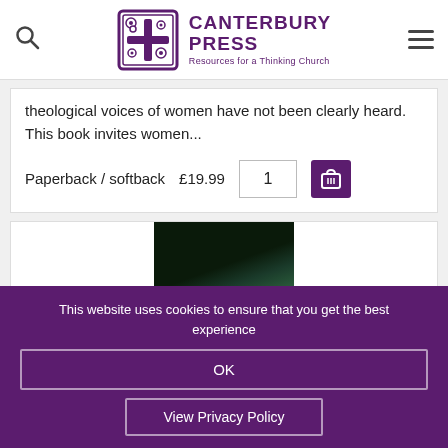Canterbury Press - Resources for a Thinking Church
theological voices of women have not been clearly heard. This book invites women...
Paperback / softback  £19.99  1
[Figure (screenshot): Dark image of a book cover, partially visible]
This website uses cookies to ensure that you get the best experience
OK
View Privacy Policy